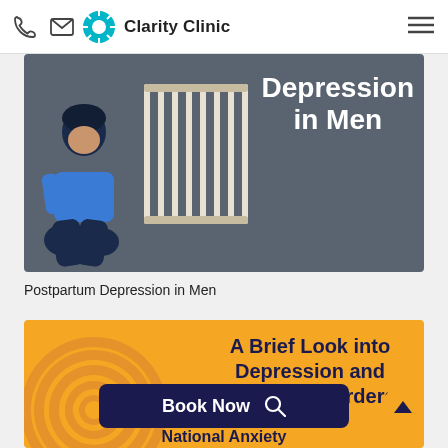Clarity Clinic
[Figure (illustration): Postpartum Depression in Men — illustration showing a man sitting huddled next to a baby crib on a grey background with bold white text 'Depression in Men']
Postpartum Depression in Men
[Figure (illustration): Orange card showing 'A Brief Look into Depression and Anxiety Disorders' with spiral illustration, Book Now search button, and 'National Anxiety' text at bottom]
Book Now
National Anxiety